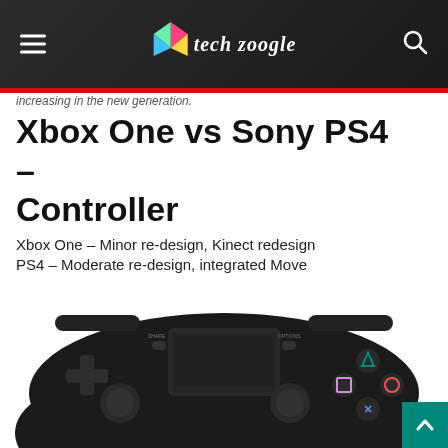Tech Zoogle
increasing in the new generation.
Xbox One vs Sony PS4 – Controller
Xbox One – Minor re-design, Kinect redesign
PS4 – Moderate re-design, integrated Move
Sony has given the Sixaxis a fairly significant redesign with the PS4. There's now a lot more control packed into the pad's body, with a trackpad that sits between the D-pad and the buttons.
[Figure (photo): PS4 DualShock 4 controller in black, showing D-pad, touchpad, face buttons (triangle, square, circle, X), Share and Options buttons, viewed from above against white background.]